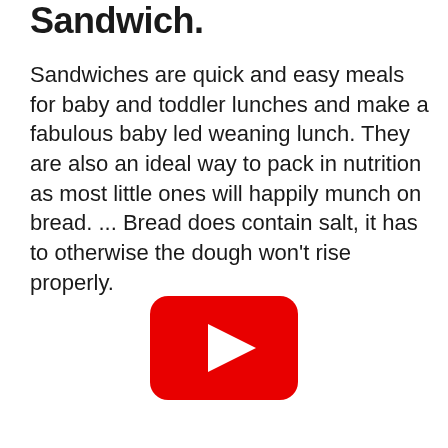Sandwich.
Sandwiches are quick and easy meals for baby and toddler lunches and make a fabulous baby led weaning lunch. They are also an ideal way to pack in nutrition as most little ones will happily munch on bread. ... Bread does contain salt, it has to otherwise the dough won't rise properly.
[Figure (screenshot): YouTube play button icon — red rounded rectangle with a white triangle play arrow in the center]